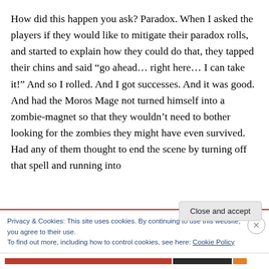How did this happen you ask? Paradox. When I asked the players if they would like to mitigate their paradox rolls, and started to explain how they could do that, they tapped their chins and said “go ahead… right here… I can take it!” And so I rolled. And I got successes. And it was good. And had the Moros Mage not turned himself into a zombie-magnet so that they wouldn’t need to bother looking for the zombies they might have even survived. Had any of them thought to end the scene by turning off that spell and running into
Privacy & Cookies: This site uses cookies. By continuing to use this website, you agree to their use.
To find out more, including how to control cookies, see here: Cookie Policy
Close and accept